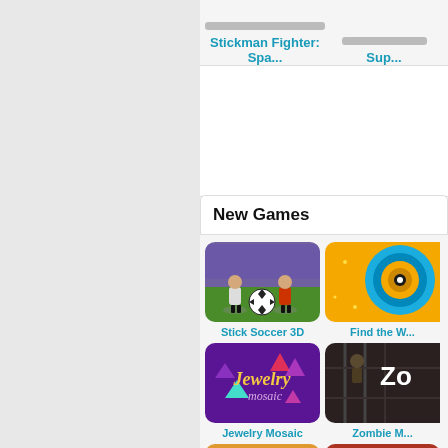Stickman Fighter: Spa...
Sup...
New Games
[Figure (screenshot): Stick Soccer 3D game thumbnail showing two cartoon soccer players and a ball on a green field]
Stick Soccer 3D
[Figure (screenshot): Find the W... game thumbnail showing a yellow/orange background with a blue spiral eye-like graphic]
Find the W...
[Figure (screenshot): Jewelry Mosaic game thumbnail with purple background and stylized 'Jewelry mosaic' text in gold and lavender]
Jewelry Mosaic
[Figure (screenshot): Zombie M... game thumbnail showing a dark dungeon-like scene with 'Zo' white letters]
Zombie M...